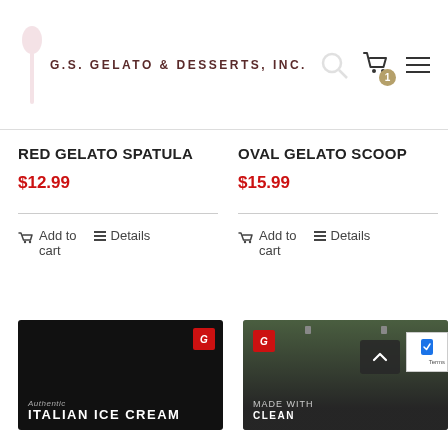G.S. GELATO & DESSERTS, INC.
RED GELATO SPATULA
$12.99
Add to cart
Details
OVAL GELATO SCOOP
$15.99
Add to cart
Details
[Figure (photo): Italian Ice Cream product packaging, dark background with brand logo]
[Figure (photo): Gelato/ice cream product photo, green gelato with 'MADE WITH CLEAN' text visible]